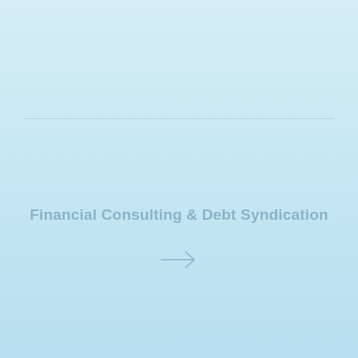Financial Consulting & Debt Syndication
[Figure (other): Right arrow navigation icon in muted blue-grey color]